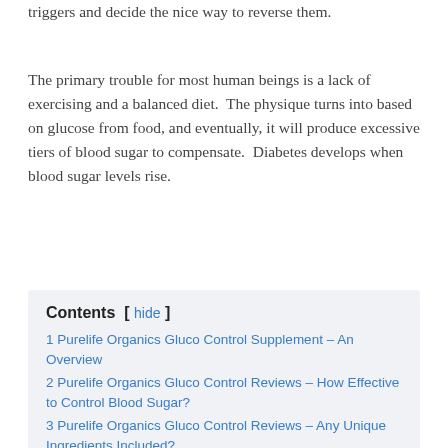triggers and decide the nice way to reverse them.
The primary trouble for most human beings is a lack of exercising and a balanced diet. The physique turns into based on glucose from food, and eventually, it will produce excessive tiers of blood sugar to compensate. Diabetes develops when blood sugar levels rise.
1 Purelife Organics Gluco Control Supplement – An Overview
2 Purelife Organics Gluco Control Reviews – How Effective to Control Blood Sugar?
3 Purelife Organics Gluco Control Reviews – Any Unique Ingredients Included?
4 Purelife Organics Gluco Control Reviews – Is it 100% Effective & Natural Pills?